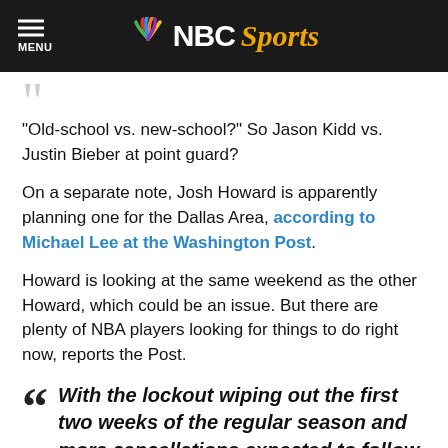NBC Sports
“Old-school vs. new-school?” So Jason Kidd vs. Justin Bieber at point guard?
On a separate note, Josh Howard is apparently planning one for the Dallas Area, according to Michael Lee at the Washington Post.
Howard is looking at the same weekend as the other Howard, which could be an issue. But there are plenty of NBA players looking for things to do right now, reports the Post.
With the lockout wiping out the first two weeks of the regular season and more cancellations expected to follow after failed negotiations last week,